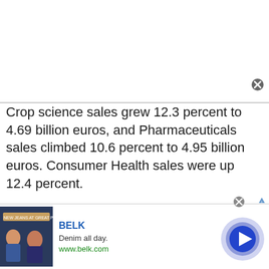Crop science sales grew 12.3 percent to 4.69 billion euros, and Pharmaceuticals sales climbed 10.6 percent to 4.95 billion euros. Consumer Health sales were up 12.4 percent.
In Germany, Bayer shares were trading at 52.59 euros, up 2.10 percent.
For comments and feedback contact:
[Figure (other): Advertisement banner for BELK showing denim clothing with tagline 'Denim all day.' and website www.belk.com, with a circular play/navigate button on the right.]